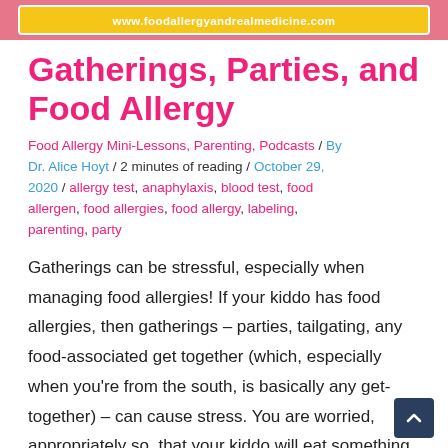www.foodallergyandrealmedicine.com
Gatherings, Parties, and Food Allergy
Food Allergy Mini-Lessons, Parenting, Podcasts / By Dr. Alice Hoyt / 2 minutes of reading / October 29, 2020 / allergy test, anaphylaxis, blood test, food allergen, food allergies, food allergy, labeling, parenting, party
Gatherings can be stressful, especially when managing food allergies! If your kiddo has food allergies, then gatherings – parties, tailgating, any food-associated get together (which, especially when you're from the south, is basically any get-together) – can cause stress. You are worried, appropriately so, that your kiddo will eat something